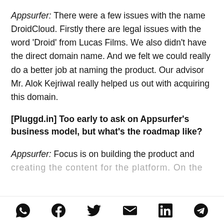Appsurfer: There were a few issues with the name DroidCloud. Firstly there are legal issues with the word 'Droid' from Lucas Films. We also didn't have the direct domain name. And we felt we could really do a better job at naming the product. Our advisor Mr. Alok Kejriwal really helped us out with acquiring this domain.
[Pluggd.in] Too early to ask on Appsurfer's business model, but what's the roadmap like?
Appsurfer: Focus is on building the product and creating the content for the platform. On the...
Share icons: WhatsApp, Facebook, Twitter, Email, LinkedIn, Telegram